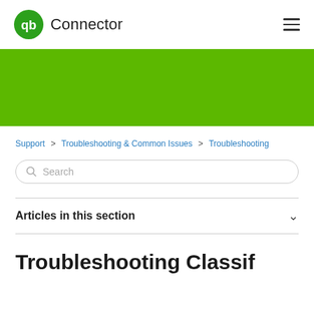[Figure (logo): QuickBooks Connector logo with green circle QB icon and text 'Connector']
[Figure (illustration): Green banner/hero section]
Support > Troubleshooting & Common Issues > Troubleshooting
Search
Articles in this section
Troubleshooting Classif...